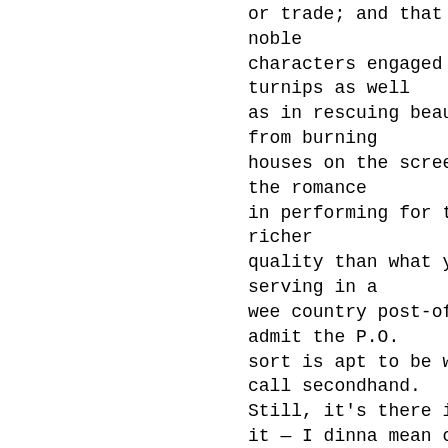or trade; and that there may be noble characters engaged in weeding turnips as well as in rescuing beauteous maidens from burning houses on the screen. No doubt the romance in performing for the movies is of richer quality than what you obtain in serving in a wee country post-office; and I admit the P.O. sort is apt to be what you might call secondhand. Still, it's there if you like to look for it — I dinna mean on the p.p.c.'s ; and in these